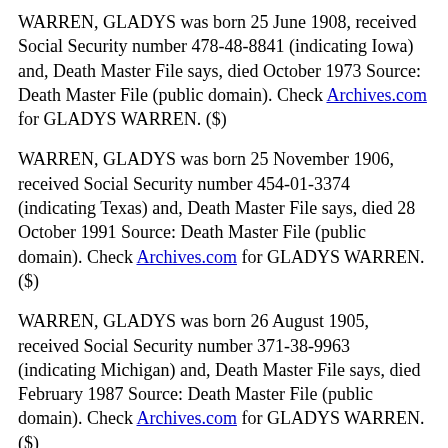WARREN, GLADYS was born 25 June 1908, received Social Security number 478-48-8841 (indicating Iowa) and, Death Master File says, died October 1973 Source: Death Master File (public domain). Check Archives.com for GLADYS WARREN. ($)
WARREN, GLADYS was born 25 November 1906, received Social Security number 454-01-3374 (indicating Texas) and, Death Master File says, died 28 October 1991 Source: Death Master File (public domain). Check Archives.com for GLADYS WARREN. ($)
WARREN, GLADYS was born 26 August 1905, received Social Security number 371-38-9963 (indicating Michigan) and, Death Master File says, died February 1987 Source: Death Master File (public domain). Check Archives.com for GLADYS WARREN. ($)
WARREN, GLADYS was born 26 August 1920,